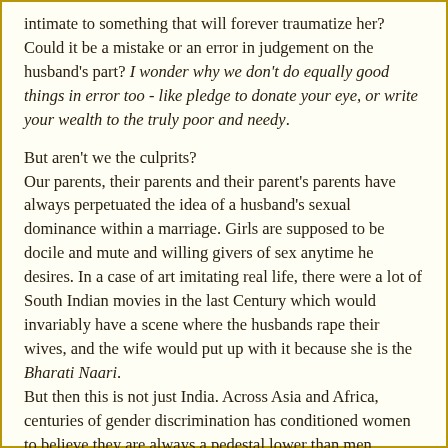intimate to something that will forever traumatize her? Could it be a mistake or an error in judgement on the husband's part? I wonder why we don't do equally good things in error too - like pledge to donate your eye, or write your wealth to the truly poor and needy.
But aren't we the culprits?
Our parents, their parents and their parent's parents have always perpetuated the idea of a husband's sexual dominance within a marriage. Girls are supposed to be docile and mute and willing givers of sex anytime he desires. In a case of art imitating real life, there were a lot of South Indian movies in the last Century which would invariably have a scene where the husbands rape their wives, and the wife would put up with it because she is the Bharati Naari.
But then this is not just India. Across Asia and Africa, centuries of gender discrimination has conditioned women to believe they are always a pedestal lower than men.
Why we haven't passed legislation to encourage victims to report and discourage husbands from this, is beyond me.
Sure, homosexual sex can land you in jail but if you are raped by